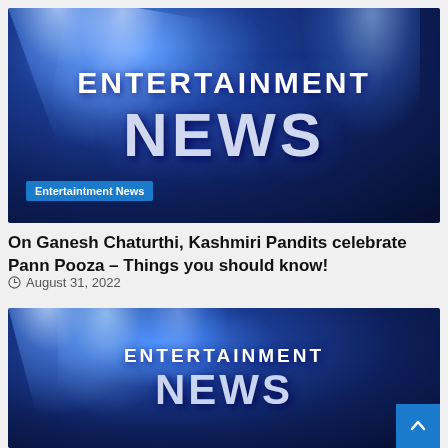[Figure (illustration): Entertainment News banner image with spotlight effects on dark blue background, showing text 'ENTERTAINMENT NEWS' with a blue badge label 'Entertaintment News']
On Ganesh Chaturthi, Kashmiri Pandits celebrate Pann Pooza – Things you should know!
August 31, 2022
[Figure (illustration): Second Entertainment News banner image, partially visible, same style as the first with spotlight effects and 'ENTERTAINMENT NEWS' text, with a scroll-to-top arrow button in the bottom right corner]